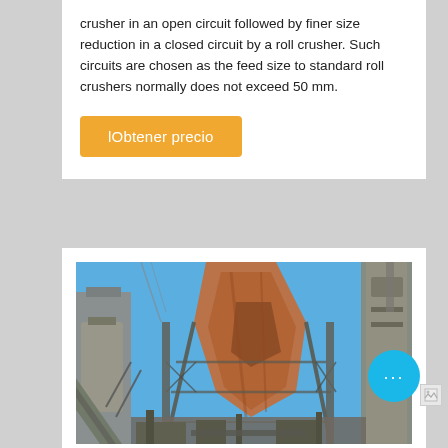crusher in an open circuit followed by finer size reduction in a closed circuit by a roll crusher. Such circuits are chosen as the feed size to standard roll crushers normally does not exceed 50 mm.
[Figure (other): Orange button labeled 'lObtener precio']
[Figure (photo): Industrial mining/crushing facility with conveyor belts, steel structures, and silos photographed against a blue sky]